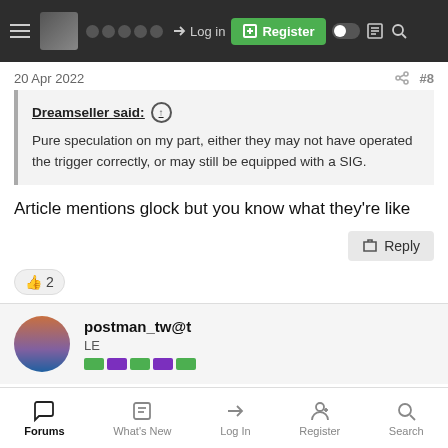Navigation bar with hamburger menu, Log in, Register, toggle, document, and search icons
20 Apr 2022
#8
Dreamseller said: ↑

Pure speculation on my part, either they may not have operated the trigger correctly, or may still be equipped with a SIG.
Article mentions glock but you know what they're like
👍 2
postman_tw@t
LE
Forums | What's New | Log In | Register | Search